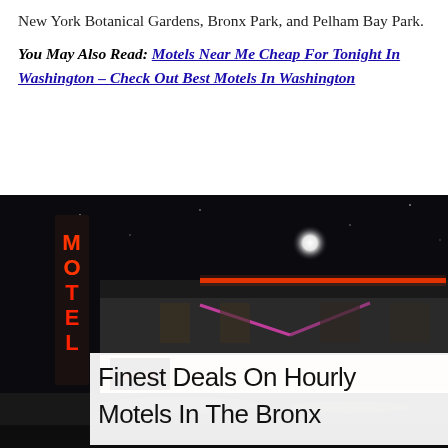New York Botanical Gardens, Bronx Park, and Pelham Bay Park.
You May Also Read: Motels Near Me Cheap For Tonight In Washington – Check Out Best Motels In Washington
[Figure (photo): Night photograph of a motel with red neon 'MOTEL' sign and illuminated building exterior, with text overlay 'Finest Deals On Hourly Motels In The Bronx']